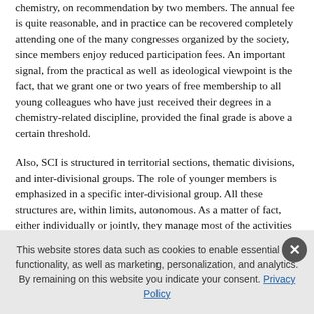chemistry, on recommendation by two members. The annual fee is quite reasonable, and in practice can be recovered completely attending one of the many congresses organized by the society, since members enjoy reduced participation fees. An important signal, from the practical as well as ideological viewpoint is the fact, that we grant one or two years of free membership to all young colleagues who have just received their degrees in a chemistry-related discipline, provided the final grade is above a certain threshold.
Also, SCI is structured in territorial sections, thematic divisions, and inter-divisional groups. The role of younger members is emphasized in a specific inter-divisional group. All these structures are, within limits, autonomous. As a matter of fact, either individually or jointly, they manage most of the activities of the society. This capillary
This website stores data such as cookies to enable essential site functionality, as well as marketing, personalization, and analytics. By remaining on this website you indicate your consent. Privacy Policy